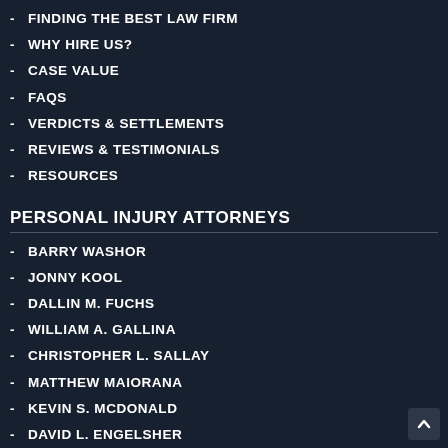FINDING THE BEST LAW FIRM
WHY HIRE US?
CASE VALUE
FAQS
VERDICTS & SETTLEMENTS
REVIEWS & TESTIMONIALS
RESOURCES
PERSONAL INJURY ATTORNEYS
BARRY WASHOR
JONNY KOOL
DALLIN M. FUCHS
WILLIAM A. GALLINA
CHRISTOPHER L. SALLAY
MATTHEW MAIORANA
KEVIN S. MCDONALD
DAVID L. ENGELSHER
DAVID V. MARRONE
BRIAN S. SCHWARTZ